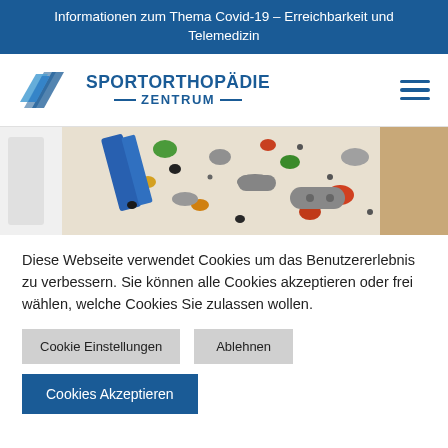Informationen zum Thema Covid-19 – Erreichbarkeit und Telemedizin
[Figure (logo): Sportorthopädie Zentrum logo with blue angular graphic and text, plus hamburger menu icon on the right]
[Figure (photo): Close-up photo of a climbing wall with colorful hand holds in various shapes and colors mounted on a beige/white wall]
Diese Webseite verwendet Cookies um das Benutzererlebnis zu verbessern. Sie können alle Cookies akzeptieren oder frei wählen, welche Cookies Sie zulassen wollen.
Cookie Einstellungen
Ablehnen
Cookies Akzeptieren